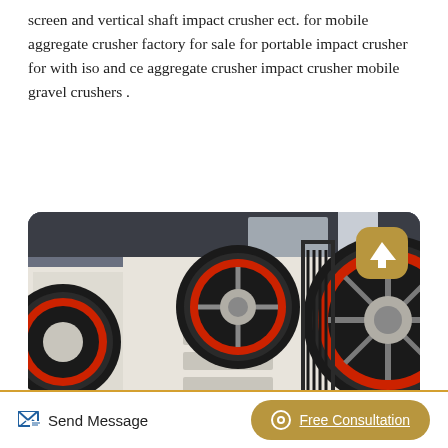screen and vertical shaft impact crusher ect. for mobile aggregate crusher factory for sale for portable impact crusher for with iso and ce aggregate crusher impact crusher mobile gravel crushers .
[Figure (other): Button labeled 'Read More' with golden/tan rounded rectangle background]
[Figure (photo): Industrial jaw crusher machine with large black and red flywheels, white metal body, photographed inside a factory/warehouse setting]
Send Message   Free Consultation